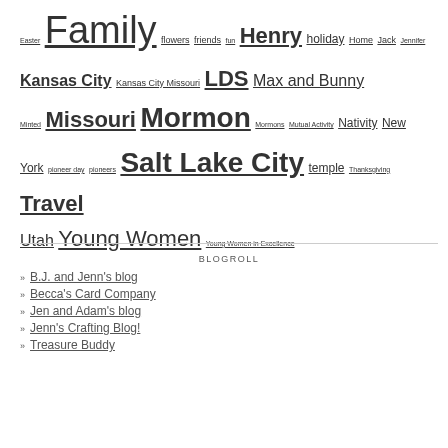Easter Family flowers friends fun Henry holiday Home Jack Jennifer Kansas City Kansas City Missouri LDS Max and Bunny Minted Missouri Mormon Mormons Mutual Activity Nativity New York pioneer day pioneers Salt Lake City temple Thanksgiving Travel Utah Young Women Young Women in Excellence
BLOGROLL
B.J. and Jenn's blog
Becca's Card Company
Jen and Adam's blog
Jenn's Crafting Blog!
Treasure Buddy